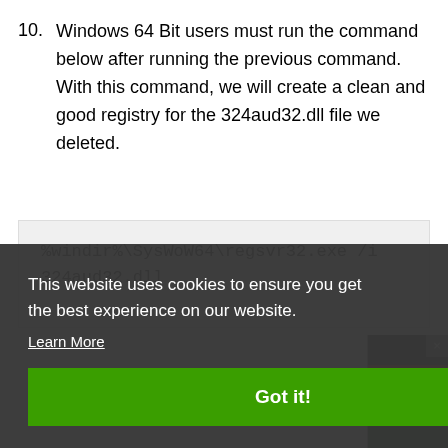10. Windows 64 Bit users must run the command below after running the previous command. With this command, we will create a clean and good registry for the 324aud32.dll file we deleted.
%windir%\SysWoW64\regsvr32.exe /i 324aud32.dll
This website uses cookies to ensure you get the best experience on our website.
Learn More
Got it!